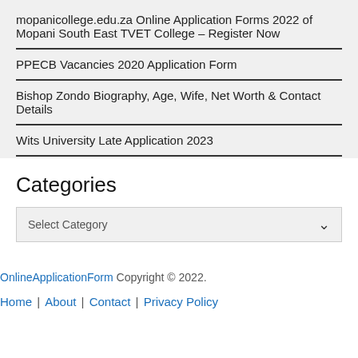mopanicollege.edu.za Online Application Forms 2022 of Mopani South East TVET College – Register Now
PPECB Vacancies 2020 Application Form
Bishop Zondo Biography, Age, Wife, Net Worth & Contact Details
Wits University Late Application 2023
Categories
Select Category
OnlineApplicationForm Copyright © 2022.
Home | About | Contact | Privacy Policy